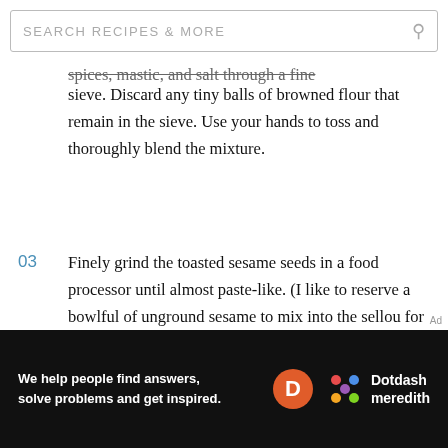[Figure (screenshot): Search bar with text 'SEARCH RECIPES & MORE' and a magnifying glass icon on the right]
spices, mastic, and salt through a fine sieve. Discard any tiny balls of browned flour that remain in the sieve. Use your hands to toss and thoroughly blend the mixture.
03  Finely grind the toasted sesame seeds in a food processor until almost paste-like. (I like to reserve a bowlful of unground sesame to mix into the sellou for crunch and texture.)
[Figure (illustration): Dotdash Meredith advertisement banner with text 'We help people find answers, solve problems and get inspired.' with D logo and colorful dots logo on dark background]